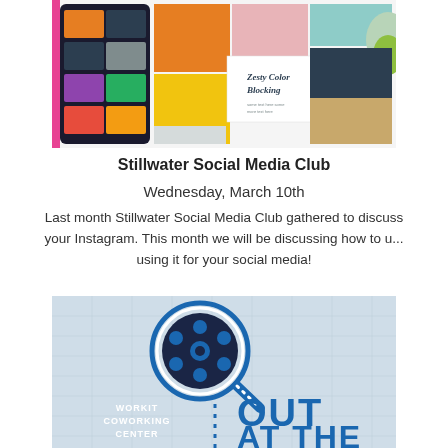[Figure (screenshot): Screenshot of a graphic design app (likely Canva) showing colorful social media templates including a 'Zesty Color Blocking' design with pineapple and pastel colors]
Stillwater Social Media Club
Wednesday, March 10th
Last month Stillwater Social Media Club gathered to discuss your Instagram. This month we will be discussing how to use using it for your social media!
[Figure (illustration): Promotional graphic for WorkIt Coworking Center featuring a blue film reel/magnifying glass icon, dotted line, and bold blue text reading 'OUT AT THE' with white text 'WORKIT COWORKING CENTER']